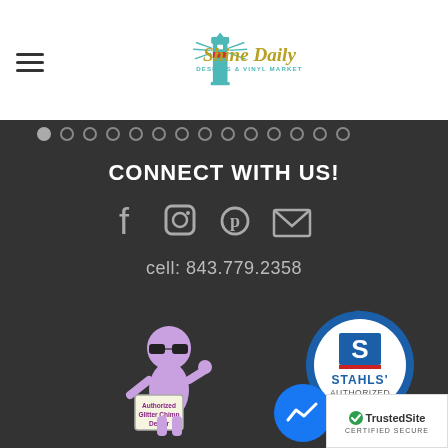[Figure (logo): Shine Daily Designs & Vinyl Market logo with lighthouse]
[Figure (infographic): Row of navigation dots]
CONNECT WITH US!
[Figure (infographic): Social media icons: Facebook, Instagram, Pinterest, Email]
cell: 843.779.2358
[Figure (logo): Stahls' Authorized Dealer badge]
[Figure (illustration): Glitter Chimp Dealer mascot character with sunglasses holding a sign]
[Figure (logo): Facebook Messenger icon]
[Figure (logo): TrustedSite Certified Secure badge]